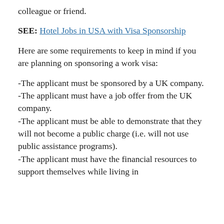colleague or friend.
SEE: Hotel Jobs in USA with Visa Sponsorship
Here are some requirements to keep in mind if you are planning on sponsoring a work visa:
-The applicant must be sponsored by a UK company.
-The applicant must have a job offer from the UK company.
-The applicant must be able to demonstrate that they will not become a public charge (i.e. will not use public assistance programs).
-The applicant must have the financial resources to support themselves while living in